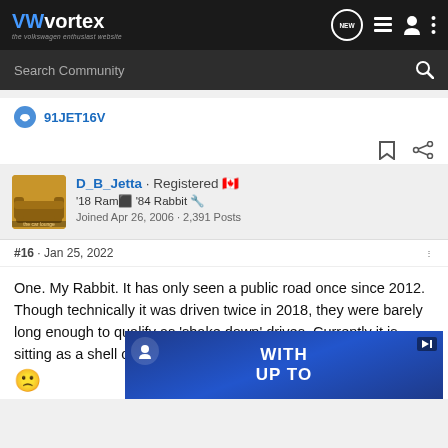VWvortex · the volkswagen enthusiast website
Search Community
91JET16V
D_B_Jetta · Registered 🇨🇦
'18 Ram⬛ '84 Rabbit 🔧
Joined Apr 26, 2006 · 2,391 Posts
#16 · Jan 25, 2022
One. My Rabbit. It has only seen a public road once since 2012. Though technically it was driven twice in 2018, they were barely long enough to qualify as 'shake down' drives. Currently it is sitting as a shell on a trailer and a bunch of boxes in my sh
[Figure (screenshot): Advertisement banner with 'WITH UP TO' text overlay]
🙁